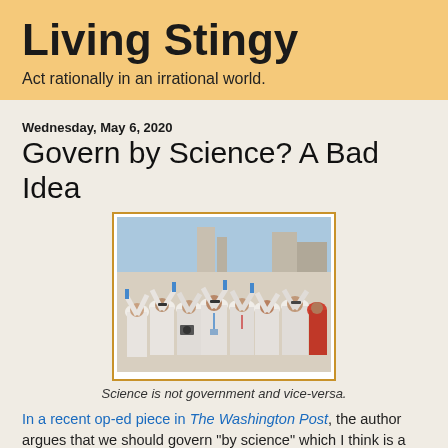Living Stingy
Act rationally in an irrational world.
Wednesday, May 6, 2020
Govern by Science? A Bad Idea
[Figure (photo): A crowd of people in white lab coats cheering and raising their hands outdoors]
Science is not government and vice-versa.
In a recent op-ed piece in The Washington Post, the author argues that we should govern "by science" which I think is a